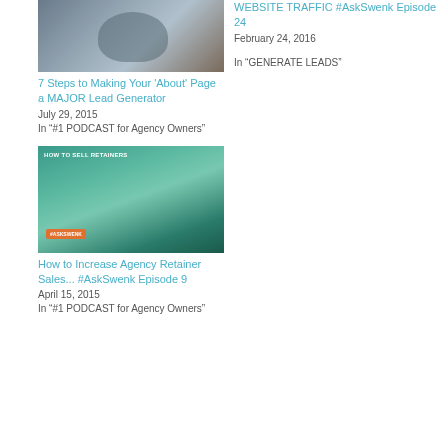[Figure (photo): Thumbnail image of a man gesturing, wooden background]
7 Steps to Making Your 'About' Page a MAJOR Lead Generator
July 29, 2015
In "#1 PODCAST for Agency Owners"
WEBSITE TRAFFIC #AskSwenk Episode 24
February 24, 2016
In "GENERATE LEADS"
[Figure (photo): Thumbnail image showing HOW TO SELL RETAINERS text with man on green background and #AskSwenk badge]
How to Increase Agency Retainer Sales... #AskSwenk Episode 9
April 15, 2015
In "#1 PODCAST for Agency Owners"